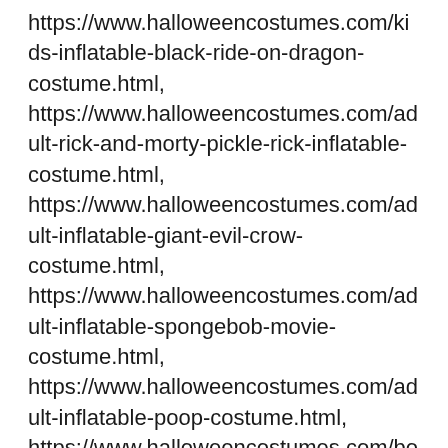https://www.halloweencostumes.com/kids-inflatable-black-ride-on-dragon-costume.html, https://www.halloweencostumes.com/adult-rick-and-morty-pickle-rick-inflatable-costume.html, https://www.halloweencostumes.com/adult-inflatable-giant-evil-crow-costume.html, https://www.halloweencostumes.com/adult-inflatable-spongebob-movie-costume.html, https://www.halloweencostumes.com/adult-inflatable-poop-costume.html, https://www.halloweencostumes.com/boys-red-baymax-inflatable-costume.html, Buy newspaper front pages, posters and more. Click on the different category headings to find out more. Powered by WordPress. Some models can run by connecting a built-in USB cord to a power bank. Where we found it: https://www.halloweencostumes.com/adult-inflatable-ostrich-costume.html. That brings the